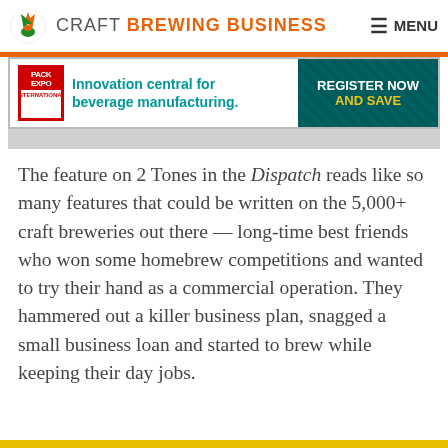CRAFT BREWING BUSINESS  MENU
[Figure (illustration): Pack Expo International advertisement banner: 'Innovation central for beverage manufacturing. REGISTER NOW AND SAVE']
The feature on 2 Tones in the Dispatch reads like so many features that could be written on the 5,000+ craft breweries out there — long-time best friends who won some homebrew competitions and wanted to try their hand as a commercial operation. They hammered out a killer business plan, snagged a small business loan and started to brew while keeping their day jobs.